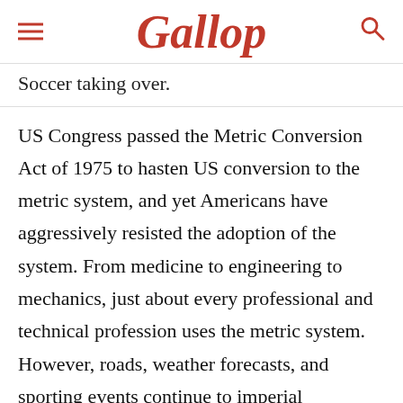Gallop
Soccer taking over.
US Congress passed the Metric Conversion Act of 1975 to hasten US conversion to the metric system, and yet Americans have aggressively resisted the adoption of the system. From medicine to engineering to mechanics, just about every professional and technical profession uses the metric system. However, roads, weather forecasts, and sporting events continue to imperial measurement, making the United States one of three countries that still use the antiquated system